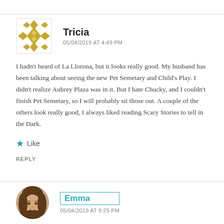[Figure (illustration): Gold/yellow geometric diamond-pattern avatar icon for user Tricia]
Tricia
05/04/2019 AT 4:49 PM
I hadn't heard of La Llorona, but it looks really good. My husband has been talking about seeing the new Pet Semetary and Child's Play. I didn't realize Aubrey Plaza was in it. But I hate Chucky, and I couldn't finish Pet Semetary, so I will probably sit those out. A couple of the others look really good, I always liked reading Scary Stories to tell in the Dark.
Like
REPLY
[Figure (photo): Circular profile photo of Emma, a woman with brown hair]
Emma
05/04/2019 AT 9:25 PM